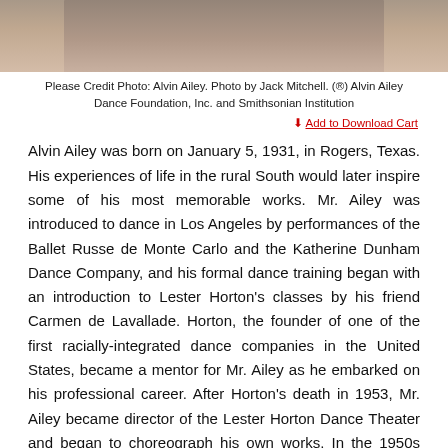[Figure (photo): Partial photo of Alvin Ailey, showing the lower portion of his face/neck and upper torso, wearing a light-colored top.]
Please Credit Photo: Alvin Ailey. Photo by Jack Mitchell. (®) Alvin Ailey Dance Foundation, Inc. and Smithsonian Institution
Add to Download Cart
Alvin Ailey was born on January 5, 1931, in Rogers, Texas. His experiences of life in the rural South would later inspire some of his most memorable works. Mr. Ailey was introduced to dance in Los Angeles by performances of the Ballet Russe de Monte Carlo and the Katherine Dunham Dance Company, and his formal dance training began with an introduction to Lester Horton's classes by his friend Carmen de Lavallade. Horton, the founder of one of the first racially-integrated dance companies in the United States, became a mentor for Mr. Ailey as he embarked on his professional career. After Horton's death in 1953, Mr. Ailey became director of the Lester Horton Dance Theater and began to choreograph his own works. In the 1950s and 60s, Mr. Ailey performed in four Broadway shows